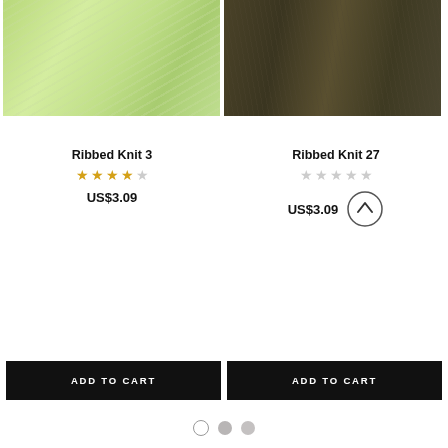[Figure (photo): Close-up of light green/lime ribbed knit fabric texture]
[Figure (photo): Close-up of dark olive/brown ribbed knit fabric texture]
Ribbed Knit 3
Ribbed Knit 27
★★★★☆
☆☆☆☆☆
US$3.09
US$3.09
ADD TO CART
ADD TO CART